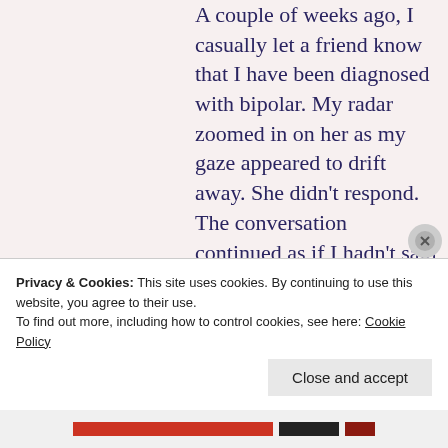A couple of weeks ago, I casually let a friend know that I have been diagnosed with bipolar. My radar zoomed in on her as my gaze appeared to drift away. She didn't respond. The conversation continued as if I hadn't said the B word. Maybe she didn't consider it noteworthy. Maybe she didn't know how to respond. I brushed it off as if the diagnosis didn't
Privacy & Cookies: This site uses cookies. By continuing to use this website, you agree to their use.
To find out more, including how to control cookies, see here: Cookie Policy
Close and accept